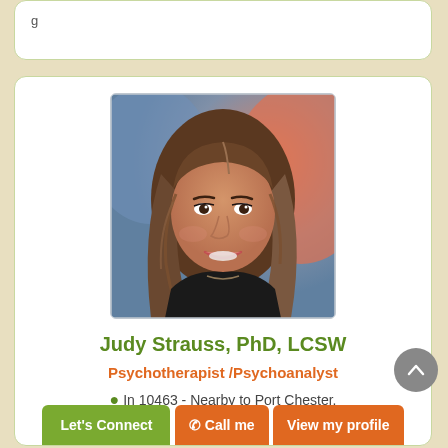[Figure (photo): Profile photo of Judy Strauss, a woman with long brown hair, smiling, against a blurred blue and orange background]
Judy Strauss, PhD, LCSW
Psychotherapist /Psychoanalyst
In 10463 - Nearby to Port Chester.
Let's Connect  Call me  View my profile